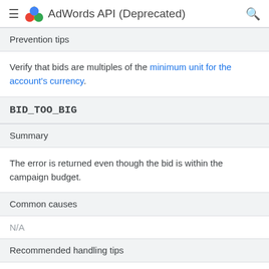AdWords API (Deprecated)
Prevention tips
Verify that bids are multiples of the minimum unit for the account's currency.
BID_TOO_BIG
Summary
The error is returned even though the bid is within the campaign budget.
Common causes
N/A
Recommended handling tips
N/A
Prevention tips